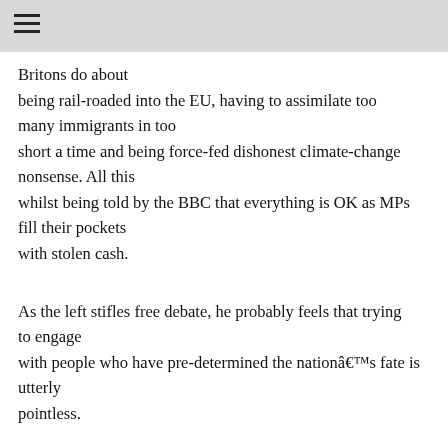Britons do about being rail-roaded into the EU, having to assimilate too many immigrants in too short a time and being force-fed dishonest climate-change nonsense. All this whilst being told by the BBC that everything is OK as MPs fill their pockets with stolen cash.
As the left stifles free debate, he probably feels that trying to engage with people who have pre-determined the nationâs fate is utterly pointless.
Quite how he made the journey from ranting about it down the pub and on